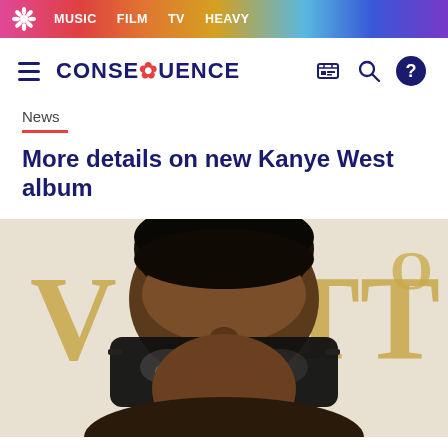MUSIC  FILM  TV  HEAVY
CONSEQUENCE
News
More details on new Kanye West album
[Figure (photo): Close-up photo of Kanye West wearing large dark rectangular sunglasses, in front of a background with partial Louis Vuitton lettering (V and TTO visible)]